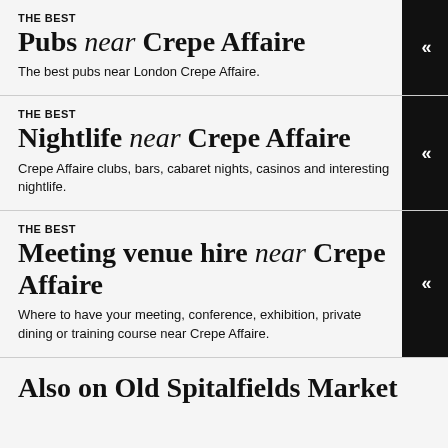THE BEST
Pubs near Crepe Affaire
The best pubs near London Crepe Affaire.
THE BEST
Nightlife near Crepe Affaire
Crepe Affaire clubs, bars, cabaret nights, casinos and interesting nightlife.
THE BEST
Meeting venue hire near Crepe Affaire
Where to have your meeting, conference, exhibition, private dining or training course near Crepe Affaire.
Also on Old Spitalfields Market